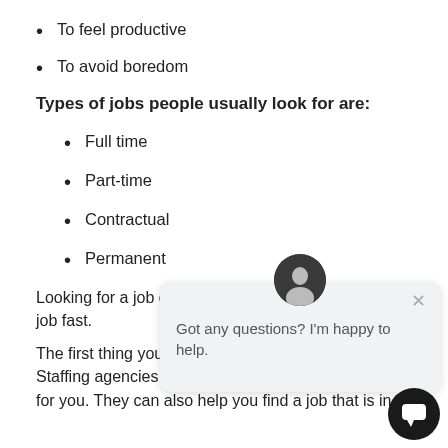To feel productive
To avoid boredom
Types of jobs people usually look for are:
Full time
Part-time
Contractual
Permanent
Looking for a job can be few things you can do to a job fast.
[Figure (screenshot): Chat widget overlay with avatar photo and message 'Got any questions? I'm happy to help.' with close button]
The first thing you can do is to use a staffing agenc Staffing agencies can help you find a job that is th fit for you. They can also help you find a job that is in